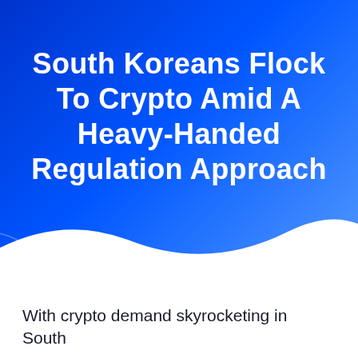[Figure (illustration): Blue gradient background with wave shape at bottom transitioning to white. A partial circle shape is visible on the left side.]
South Koreans Flock To Crypto Amid A Heavy-Handed Regulation Approach
□□ 11, 2021
With crypto demand skyrocketing in South